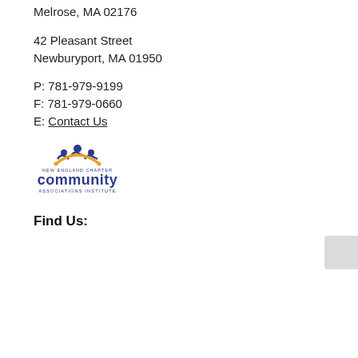Melrose, MA 02176
42 Pleasant Street
Newburyport, MA 01950
P: 781-979-9199
F: 781-979-0660
E: Contact Us
[Figure (logo): New England Chapter Community Associations Institute logo with people/arch icon in gold and blue]
Find Us: